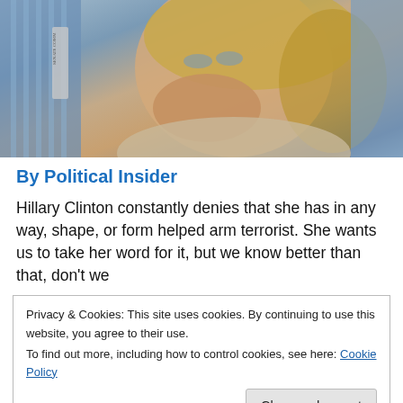[Figure (photo): Close-up photograph of a woman with blonde hair holding her hand to her mouth, with people visible in the background. She appears to be at some kind of official or political event.]
By Political Insider
Hillary Clinton constantly denies that she has in any way, shape, or form helped arm terrorist. She wants us to take her word for it, but we know better than that, don't we
Privacy & Cookies: This site uses cookies. By continuing to use this website, you agree to their use.
To find out more, including how to control cookies, see here: Cookie Policy
Close and accept
During a recent interview, Assange stated, "So, for